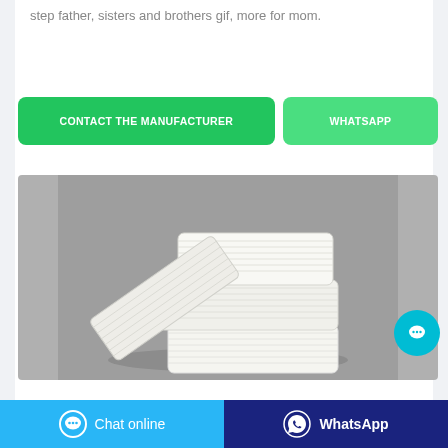step father, sisters and brothers gif, more for mom.
CONTACT THE MANUFACTURER
WHATSAPP
[Figure (photo): Three stacked white soap bars on a gray background, with one bar leaning against the stack]
Chat online
WhatsApp